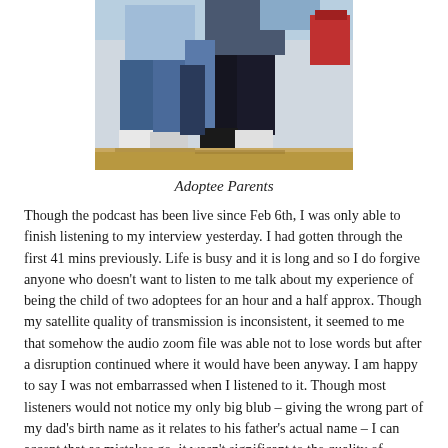[Figure (photo): A photograph showing the lower bodies and feet of two people standing outdoors. Both are wearing jeans and sneakers. The background shows a sandy/dirt ground and what appears to be a red object on the right side.]
Adoptee Parents
Though the podcast has been live since Feb 6th, I was only able to finish listening to my interview yesterday. I had gotten through the first 41 mins previously. Life is busy and it is long and so I do forgive anyone who doesn't want to listen to me talk about my experience of being the child of two adoptees for an hour and a half approx. Though my satellite quality of transmission is inconsistent, it seemed to me that somehow the audio zoom file was able not to lose words but after a disruption continued where it would have been anyway. I am happy to say I was not embarrassed when I listened to it. Though most listeners would not notice my only big blub – giving the wrong part of my dad's birth name as it relates to his father's actual name – I can accept that as mistakes go, it wasn't significant to the quality of listening to my interview by Ande Stanley of The